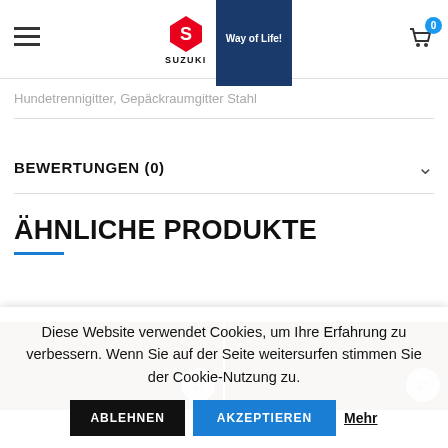SUZUKI Way of Life!
Hundetrennigitter, Gepäckraumgitter Stahl
BEWERTUNGEN (0)
ÄHNLICHE PRODUKTE
[Figure (photo): Two dark brown product images side by side]
Diese Website verwendet Cookies, um Ihre Erfahrung zu verbessern. Wenn Sie auf der Seite weitersurfen stimmen Sie der Cookie-Nutzung zu.
ABLEHNEN   AKZEPTIEREN   Mehr